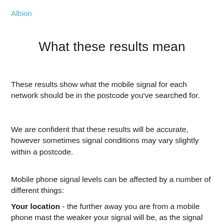Albion
What these results mean
These results show what the mobile signal for each network should be in the postcode you've searched for.
We are confident that these results will be accurate, however sometimes signal conditions may vary slightly within a postcode.
Mobile phone signal levels can be affected by a number of different things:
Your location - the further away you are from a mobile phone mast the weaker your signal will be, as the signal gets weaker this affects the signal quality which will reduce your data download speeds.